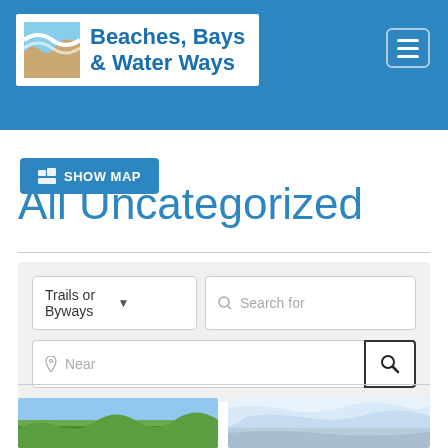[Figure (logo): Beaches, Bays & Water Ways website header with logo showing waves and text]
SHOW MAP
All Uncategorized
[Figure (screenshot): Search form with Trails or Byways dropdown, Search for text input, Near location input, and search button]
[Figure (photo): Two partial thumbnail photos at bottom of page — left shows green marsh vegetation, right shows cloudy sky over water]